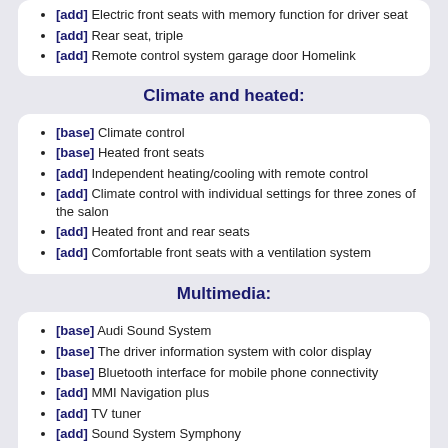[add] Electric front seats with memory function for driver seat
[add] Rear seat, triple
[add] Remote control system garage door Homelink
Climate and heated:
[base] Climate control
[base] Heated front seats
[add] Independent heating/cooling with remote control
[add] Climate control with individual settings for three zones of the salon
[add] Heated front and rear seats
[add] Comfortable front seats with a ventilation system
Multimedia:
[base] Audi Sound System
[base] The driver information system with color display
[base] Bluetooth interface for mobile phone connectivity
[add] MMI Navigation plus
[add] TV tuner
[add] Sound System Symphony
[add] Audi music interface: Interface for connection of